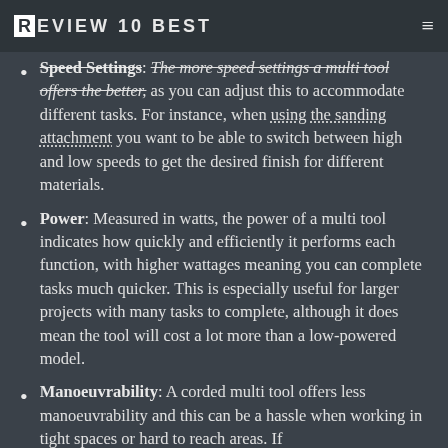REVIEW10BEST
Speed Settings: The more speed settings a multi tool offers the better, as you can adjust this to accommodate different tasks. For instance, when using the sanding attachment you want to be able to switch between high and low speeds to get the desired finish for different materials.
Power: Measured in watts, the power of a multi tool indicates how quickly and efficiently it performs each function, with higher wattages meaning you can complete tasks much quicker. This is especially useful for larger projects with many tasks to complete, although it does mean the tool will cost a lot more than a low-powered model.
Manoeuvrability: A corded multi tool offers less manoeuvrability and this can be a hassle when working in tight spaces or hard to reach areas. If